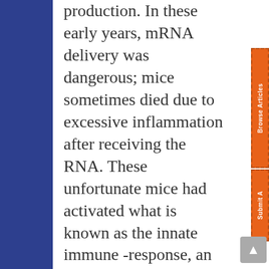production. In these early years, mRNA delivery was dangerous; mice sometimes died due to excessive inflammation after receiving the RNA. These unfortunate mice had activated what is known as the innate immune -response, an indiscriminate strategy that